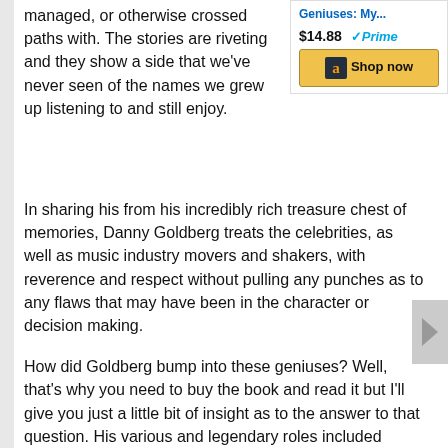managed, or otherwise crossed paths with. The stories are riveting and they show a side that we've never seen of the names we grew up listening to and still enjoy.
[Figure (other): Amazon product widget showing a book link 'Geniuses: My...', price $14.88 with Prime badge, and a yellow 'Shop now' button with Amazon logo]
In sharing his from his incredibly rich treasure chest of memories, Danny Goldberg treats the celebrities, as well as music industry movers and shakers, with reverence and respect without pulling any punches as to any flaws that may have been in the character or decision making.
How did Goldberg bump into these geniuses? Well, that's why you need to buy the book and read it but I'll give you just a little bit of insight as to the answer to that question. His various and legendary roles included writing for publications such as Billboard, Jazz and Pop, and Rolling Stone magazines.
His journalism gigs led him to serve in PR roles for Led Zeppelin and KISS. Ultimately, he rolled into executive management positions with record companies such as Atlantic Records, Mercury Records and Warner Brothers Records. He also was, and is, a highly respected and